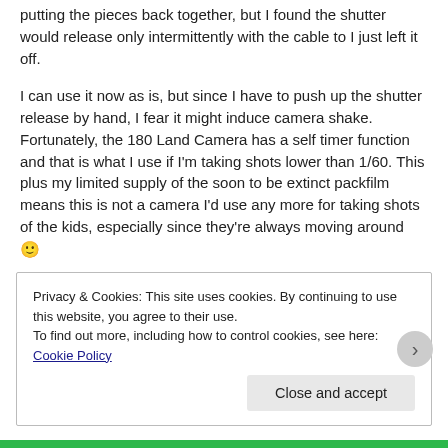putting the pieces back together, but I found the shutter would release only intermittently with the cable to I just left it off.
I can use it now as is, but since I have to push up the shutter release by hand, I fear it might induce camera shake. Fortunately, the 180 Land Camera has a self timer function and that is what I use if I'm taking shots lower than 1/60. This plus my limited supply of the soon to be extinct packfilm means this is not a camera I'd use any more for taking shots of the kids, especially since they're always moving around 🙂
Privacy & Cookies: This site uses cookies. By continuing to use this website, you agree to their use.
To find out more, including how to control cookies, see here: Cookie Policy